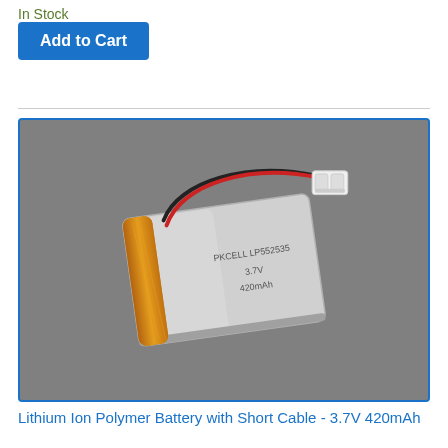In Stock
Add to Cart
[Figure (photo): A lithium ion polymer battery (PKCELL LP552535, 3.7V 420mAh) with red and black wires and a white JST connector, photographed on a gray background.]
Lithium Ion Polymer Battery with Short Cable - 3.7V 420mAh